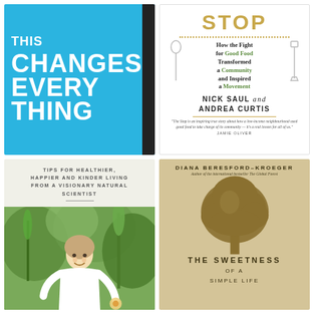[Figure (illustration): Book cover: 'This Changes Everything' - bright blue background with bold white uppercase text and black spine strip on right]
[Figure (illustration): Book cover: 'The Stop - How the Fight for Good Food Transformed a Community and Inspired a Movement' by Nick Saul and Andrea Curtis. White cover with gold title, spoon and shovel illustrations, green accent text, and Jamie Oliver quote.]
[Figure (illustration): Book cover: Tips for Healthier, Happier and Kinder Living from a Visionary Natural Scientist - light cream top with text, bottom half shows photo of smiling woman in garden]
[Figure (illustration): Book cover: 'The Sweetness of a Simple Life' by Diana Beresford-Kroeger - tan/gold background with tree silhouette in darker gold, uppercase serif title text]